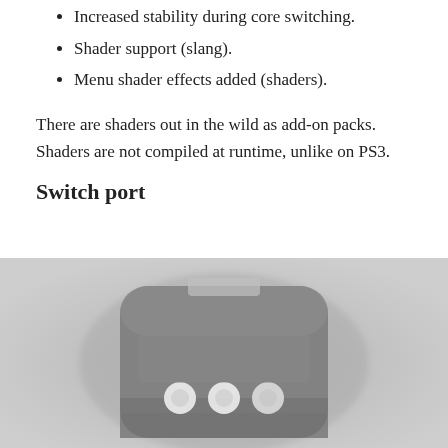Increased stability during core switching.
Shader support (slang).
Menu shader effects added (shaders).
There are shaders out in the wild as add-on packs. Shaders are not compiled at runtime, unlike on PS3.
Switch port
[Figure (photo): A grayscale photo of a Nintendo Switch game cartridge lying on a light gray surface, showing the cartridge from the front with three contact pins visible.]